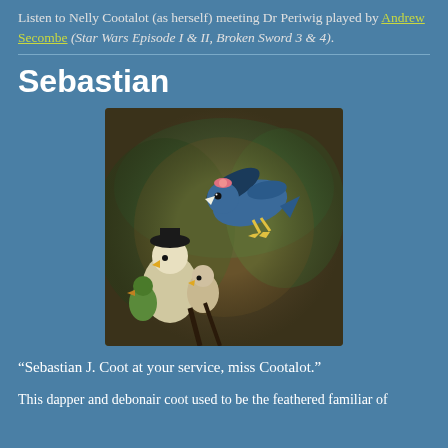Listen to Nelly Cootalot (as herself) meeting Dr Periwig played by Andrew Secombe (Star Wars Episode I & II, Broken Sword 3 & 4).
[Figure (illustration): Animated scene showing a blue coot bird (Sebastian) flying, wearing a pink bow, with white beak, yellow feet. Below are other cartoon bird characters including what appears to be Nelly Cootalot and other characters in a forested background.]
Sebastian
“Sebastian J. Coot at your service, miss Cootalot.”
This dapper and debonair coot used to be the feathered familiar of